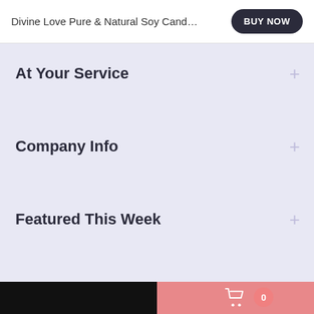Divine Love Pure & Natural Soy Cand…
At Your Service
Company Info
Featured This Week
Newsletter
0